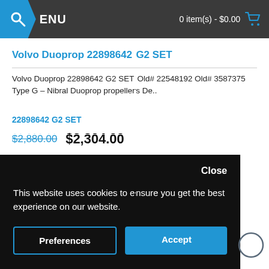MENU  0 item(s) - $0.00
Volvo Duoprop 22898642 G2 SET
Volvo Duoprop 22898642 G2 SET Old# 22548192 Old# 3587375 Type G – Nibral Duoprop propellers De..
22898642 G2 SET
$2,880.00  $2,304.00
ADD TO CART
Close
This website uses cookies to ensure you get the best experience on our website.
Preferences
Accept